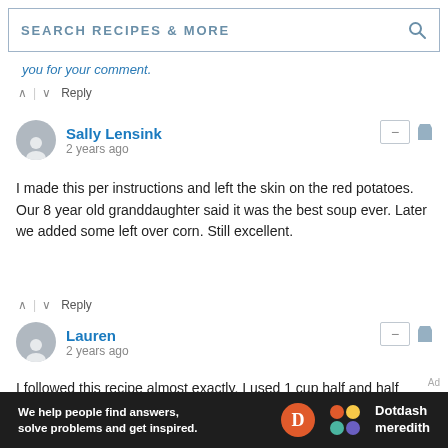SEARCH RECIPES & MORE
you for your comment.
^ | v Reply
Sally Lensink
2 years ago
I made this per instructions and left the skin on the red potatoes. Our 8 year old granddaughter said it was the best soup ever. Later we added some left over corn. Still excellent.
^ | v Reply
Lauren
2 years ago
I followed this recipe almost exactly. I used 1 cup half and half instead of heavy cream. I also used 6 cups of yellow potatoes instead of 4-5 cups. I peeled the potatoes because the recipe didn't say anything about that. I think my choice of potato gave it a slightly grainy texture where as red potatoes are very
[Figure (logo): Dotdash Meredith advertisement banner with orange D logo and colorful dot logo]